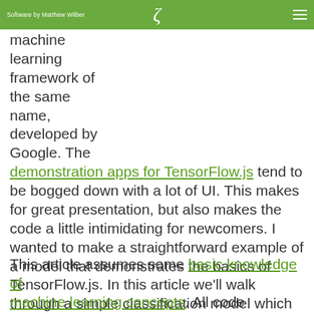Software by Matthew Wiber | ζ
machine learning framework of the same name, developed by Google. The demonstration apps for TensorFlow.js tend to be bogged down with a lot of UI. This makes for great presentation, but also makes the code a little intimidating for newcomers. I wanted to make a straightforward example of a model that demonstrates the basics of TensorFlow.js. In this article we'll walk through a simple classification model which solves for XOR.
This article assumes some basic knowledge of machine learning concepts. All code examples are